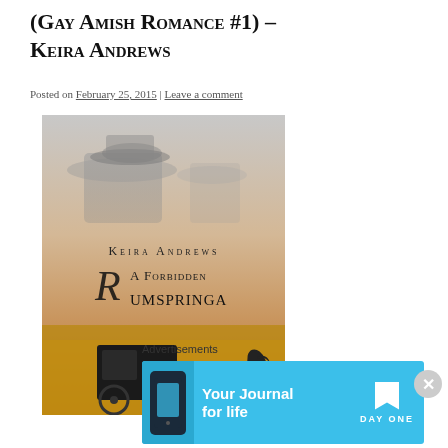(Gay Amish Romance #1) – Keira Andrews
Posted on February 25, 2015 | Leave a comment
[Figure (photo): Book cover of 'A Forbidden Rumspringa' by Keira Andrews – shows two figures in Amish hats in muted tones at top, with a horse and black Amish carriage at the bottom against a golden field, and the book title in elegant script/serif typography in the center.]
Advertisements
[Figure (infographic): Day One app advertisement banner with blue background, phone mockup on left, 'Your Journal for life' text in center, and Day One logo with bookmark icon on right.]